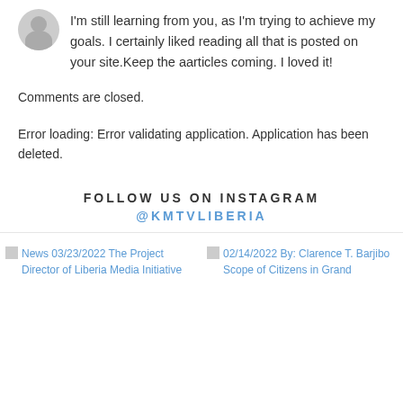I'm still learning from you, as I'm trying to achieve my goals. I certainly liked reading all that is posted on your site.Keep the aarticles coming. I loved it!
Comments are closed.
Error loading: Error validating application. Application has been deleted.
FOLLOW US ON INSTAGRAM
@KMTVLIBERIA
News 03/23/2022 The Project Director of Liberia Media Initiative
02/14/2022 By: Clarence T. Barjibo Scope of Citizens in Grand